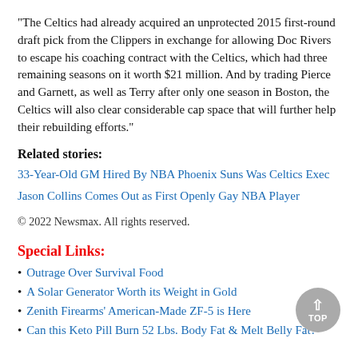"The Celtics had already acquired an unprotected 2015 first-round draft pick from the Clippers in exchange for allowing Doc Rivers to escape his coaching contract with the Celtics, which had three remaining seasons on it worth $21 million. And by trading Pierce and Garnett, as well as Terry after only one season in Boston, the Celtics will also clear considerable cap space that will further help their rebuilding efforts."
Related stories:
33-Year-Old GM Hired By NBA Phoenix Suns Was Celtics Exec
Jason Collins Comes Out as First Openly Gay NBA Player
© 2022 Newsmax. All rights reserved.
Special Links:
Outrage Over Survival Food
A Solar Generator Worth its Weight in Gold
Zenith Firearms' American-Made ZF-5 is Here
Can this Keto Pill Burn 52 Lbs. Body Fat & Melt Belly Fat?